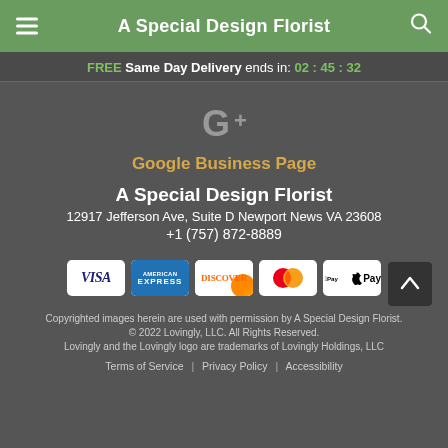A Special Design Florist
FREE Same Day Delivery ends in: 02 : 45 : 32
[Figure (logo): Google+ icon]
Google Business Page
A Special Design Florist
12917 Jefferson Ave, Suite D Newport News VA 23608
+1 (757) 872-8889
[Figure (other): Payment method icons: Visa, American Express, Discover, Mastercard, Apple Pay]
Copyrighted images herein are used with permission by A Special Design Florist.
© 2022 Lovingly, LLC. All Rights Reserved.
Lovingly and the Lovingly logo are trademarks of Lovingly Holdings, LLC
Terms of Service | Privacy Policy | Accessibility